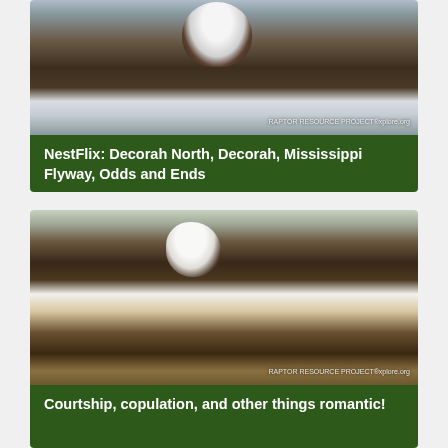[Figure (photo): Bald eagle close-up in a nest with snow in the background, watermark: RAPTOR RESOURCE PROJECT explore.org]
NestFlix: Decorah North, Decorah, Mississippi Flyway, Odds and Ends
[Figure (photo): Two bald eagles together in a large nest, courtship behavior, watermark: RAPTOR RESOURCE PROJECT explore.org]
Courtship, copulation, and other things romantic!